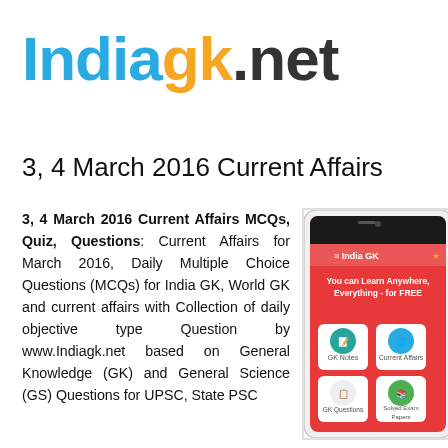[Figure (logo): Indiagk.net logo with 'India' in sky blue, 'gk' in gold/yellow, and '.net' in dark gray bold text]
3, 4 March 2016 Current Affairs
3, 4 March 2016 Current Affairs MCQs, Quiz, Questions: Current Affairs for March 2016, Daily Multiple Choice Questions (MCQs) for India GK, World GK and current affairs with Collection of daily objective type Question by www.Indiagk.net based on General Knowledge (GK) and General Science (GS) Questions for UPSC, State PSC...
[Figure (screenshot): India GK mobile app screenshot on Android phone showing a red background with 'You can Learn Anywhere, Everything - for FREE' text, and four app menu tiles: GK Notes, Current Affairs, GK Questions, Solved Exam Papers]